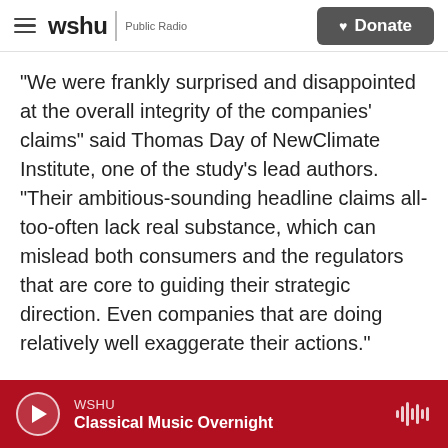wshu | Public Radio  [Donate button]
"We were frankly surprised and disappointed at the overall integrity of the companies' claims" said Thomas Day of NewClimate Institute, one of the study's lead authors. "Their ambitious-sounding headline claims all-too-often lack real substance, which can mislead both consumers and the regulators that are core to guiding their strategic direction. Even companies that are doing relatively well exaggerate their actions."
Among the 25 companies the researchers studied, 24 relied too heavily on carbon offsets, which are rife with problems, the report said. That's because
WSHU  Classical Music Overnight